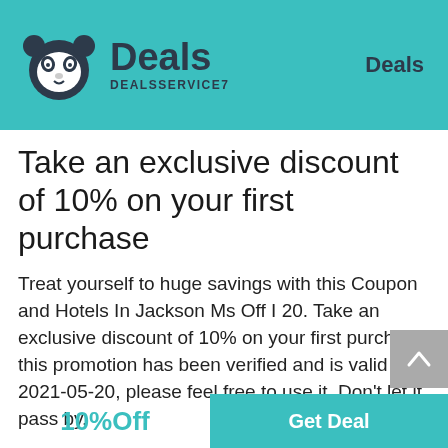Deals DEALSSERVICE7 | Deals
Take an exclusive discount of 10% on your first purchase
Treat yourself to huge savings with this Coupon and Hotels In Jackson Ms Off I 20. Take an exclusive discount of 10% on your first purchase, this promotion has been verified and is valid on 2021-05-20, please feel free to use it. Don't let it pass by.
144 Used
10%Off
Get Deal